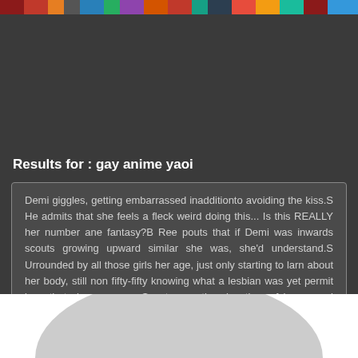[image strip header]
Results for : gay anime yaoi
Demi giggles, getting embarrassed inadditionto avoiding the kiss.S He admits that she feels a fleck weird doing this... Is this REALLY her number ane fantasy?B Ree pouts that if Demi was inwards scouts growing upward similar she was, she'd understand.S Urrounded by all those girls her age, just only starting to larn about her body, still non fifty-fifty knowing what a lesbian was yet permit lone that she was ane. Scouts was the showtime of her sexual awakening!I T's her ultimate fantasy from her youth that she still thinks about atpresent inward her twenties!
[Figure (photo): White background with a gray arc/semicircle shape at bottom, partial image of a figure]